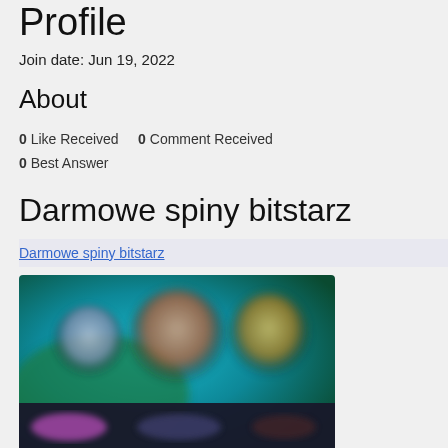Profile
Join date: Jun 19, 2022
About
0 Like Received   0 Comment Received
0 Best Answer
Darmowe spiny bitstarz
Darmowe spiny bitstarz
[Figure (screenshot): Blurred screenshot of a casino or gaming website interface with colorful characters and dark menu bar at bottom]